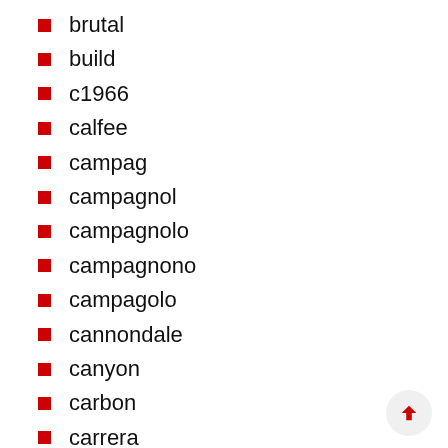brutal
build
c1966
calfee
campag
campagnol
campagnolo
campagnono
campagolo
cannondale
canyon
carbon
carrera
casati
cervelo
change